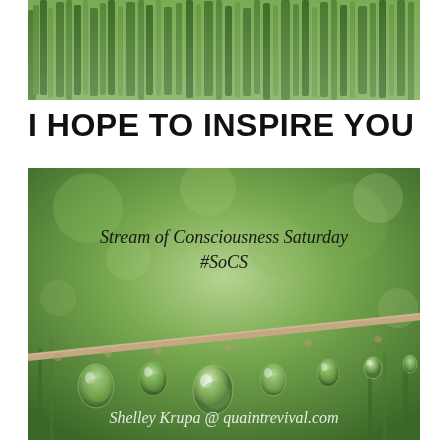[Figure (photo): Close-up photo of green grass/foliage with blurred background, cropped at top of page]
I HOPE TO INSPIRE YOU
[Figure (photo): Macro photo of water droplets hanging from a thin twig/wire against a blurred green background. Text overlay reads 'Stream of Consciousness Saturday #SoCS' and 'Shelley Krupa @ quaintrevival.com']